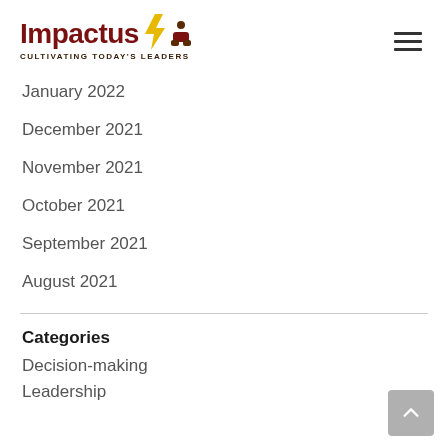Impactus — Cultivating Today's Leaders
January 2022
December 2021
November 2021
October 2021
September 2021
August 2021
Categories
Decision-making
Leadership